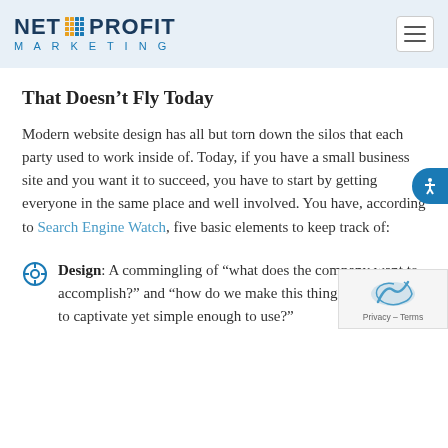NET PROFIT MARKETING
That Doesn't Fly Today
Modern website design has all but torn down the silos that each party used to work inside of. Today, if you have a small business site and you want it to succeed, you have to start by getting everyone in the same place and well involved. You have, according to Search Engine Watch, five basic elements to keep track of:
Design: A commingling of “what does the company want to accomplish?” and “how do we make this thing pretty enough to captivate yet simple enough to use?”